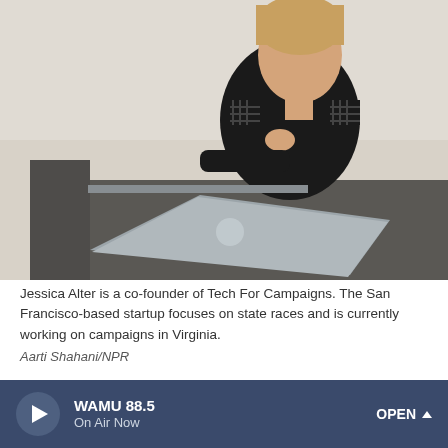[Figure (photo): A woman in a black dress sitting on a dark gray couch, working on a MacBook laptop. She has her chin resting on her hand in a thoughtful pose. The photo is taken in an office or studio environment.]
Jessica Alter is a co-founder of Tech For Campaigns. The San Francisco-based startup focuses on state races and is currently working on campaigns in Virginia.
Aarti Shahani/NPR
A massive shift happened, quietly, during the Obama years: